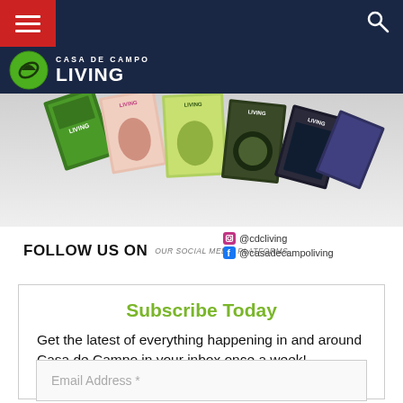Casa de Campo Living — navigation bar with hamburger menu and search icon
[Figure (logo): Casa de Campo Living logo with green circle icon and white text]
[Figure (photo): Collage of Casa de Campo Living magazine covers fanned out]
FOLLOW US ON OUR SOCIAL MEDIA PLATFORMS. @cdcliving @casadecampoliving
Subscribe Today
Get the latest of everything happening in and around Casa de Campo in your inbox once a week!
Email Address *